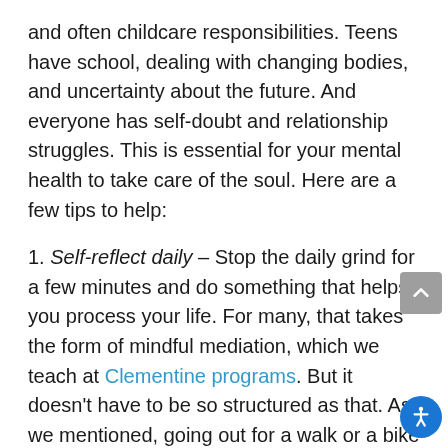and often childcare responsibilities. Teens have school, dealing with changing bodies, and uncertainty about the future. And everyone has self-doubt and relationship struggles. This is essential for your mental health to take care of the soul. Here are a few tips to help:
1. Self-reflect daily – Stop the daily grind for a few minutes and do something that helps you process your life. For many, that takes the form of mindful mediation, which we teach at Clementine programs. But it doesn't have to be so structured as that. As we mentioned, going out for a walk or a bike ride can be a form of meditation. Journaling is another great way to help process your day.